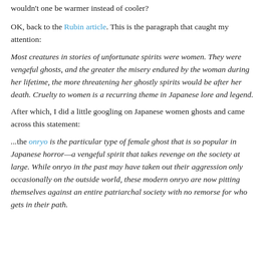wouldn't one be warmer instead of cooler?
OK, back to the Rubin article. This is the paragraph that caught my attention:
Most creatures in stories of unfortunate spirits were women. They were vengeful ghosts, and the greater the misery endured by the woman during her lifetime, the more threatening her ghostly spirits would be after her death. Cruelty to women is a recurring theme in Japanese lore and legend.
After which, I did a little googling on Japanese women ghosts and came across this statement:
...the onryo is the particular type of female ghost that is so popular in Japanese horror—a vengeful spirit that takes revenge on the society at large. While onryo in the past may have taken out their aggression only occasionally on the outside world, these modern onryo are now pitting themselves against an entire patriarchal society with no remorse for who gets in their path.